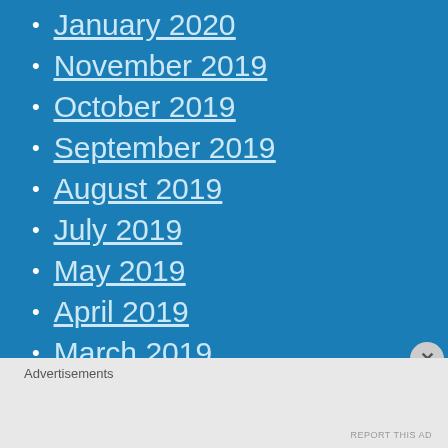January 2020
November 2019
October 2019
September 2019
August 2019
July 2019
May 2019
April 2019
March 2019
February 2019
January 2019
Advertisements
REPORT THIS AD